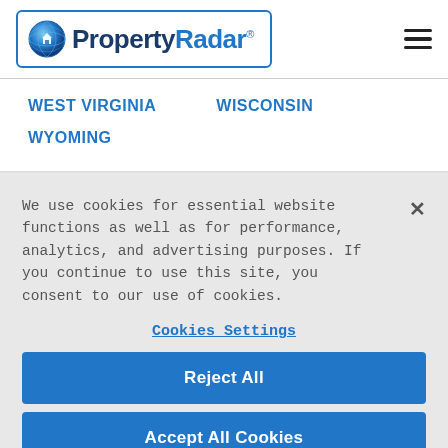[Figure (logo): PropertyRadar logo with globe icon inside a blue-bordered rounded rectangle box]
[Figure (illustration): Hamburger menu icon (three horizontal lines)]
WEST VIRGINIA
WISCONSIN
WYOMING
We use cookies for essential website functions as well as for performance, analytics, and advertising purposes. If you continue to use this site, you consent to our use of cookies.
Cookies Settings
Reject All
Accept All Cookies